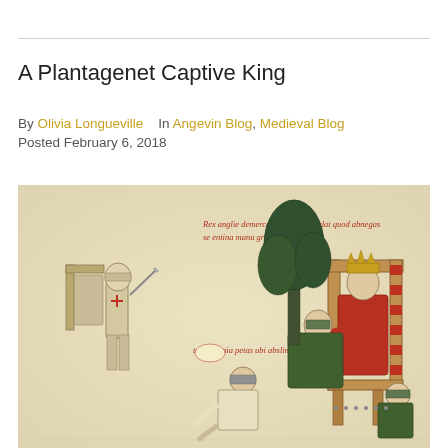A Plantagenet Captive King
By Olivia Longueville   In Angevin Blog, Medieval Blog
Posted February 6, 2018
[Figure (illustration): Medieval illuminated manuscript illustration showing armored knights with swords, a crowned king seated on a throne in red robes, and kneeling figures. Red Latin text annotations appear in the image. Depicted scene relates to a Plantagenet captive king narrative.]